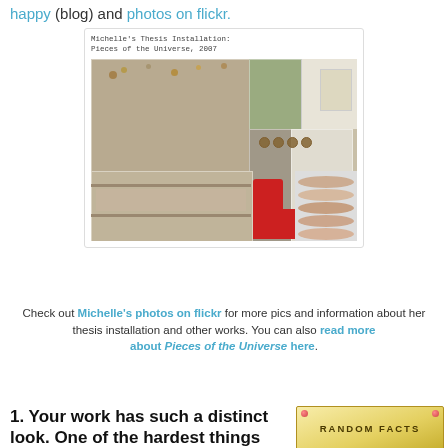happy (blog) and photos on flickr.
[Figure (photo): Collage of Michelle's thesis installation 'Pieces of the Universe, 2007' showing art installation photos with shelves, objects, and decorative items]
Michelle's Thesis Installation: Pieces of the Universe, 2007
Check out Michelle's photos on flickr for more pics and information about her thesis installation and other works. You can also read more about Pieces of the Universe here.
1. Your work has such a distinct look. One of the hardest things
[Figure (other): Random Facts decorative label/tag in yellow]